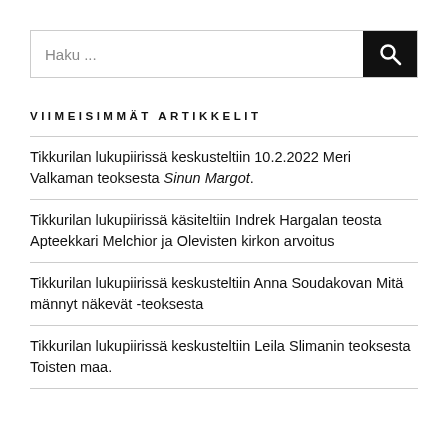[Figure (other): Search input box with placeholder text 'Haku ...' and a black search button with magnifying glass icon]
VIIMEISIMMÄT ARTIKKELIT
Tikkurilan lukupiirissä keskusteltiin 10.2.2022 Meri Valkaman teoksesta Sinun Margot.
Tikkurilan lukupiirissä käsiteltiin Indrek Hargalan teosta Apteekkari Melchior ja Olevisten kirkon arvoitus
Tikkurilan lukupiirissä keskusteltiin Anna Soudakovan Mitä männyt näkevät -teoksesta
Tikkurilan lukupiirissä keskusteltiin Leila Slimanin teoksesta Toisten maa.